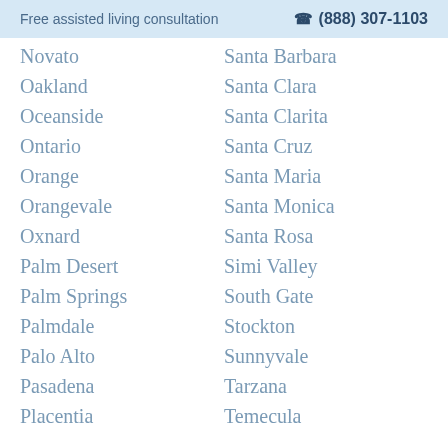Free assisted living consultation  ☎ (888) 307-1103
Novato
Oakland
Oceanside
Ontario
Orange
Orangevale
Oxnard
Palm Desert
Palm Springs
Palmdale
Palo Alto
Pasadena
Placentia
Santa Barbara
Santa Clara
Santa Clarita
Santa Cruz
Santa Maria
Santa Monica
Santa Rosa
Simi Valley
South Gate
Stockton
Sunnyvale
Tarzana
Temecula